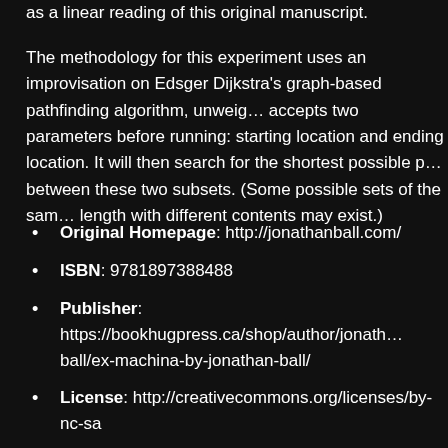as a linear reading of this original manuscript.

The methodology for this experiment uses an improvisation on Edsger Dijkstra's graph-based pathfinding algorithm, unweighted, accepts two parameters before running: starting location and ending location. It will then search for the shortest possible path between these two subsets. (Some possible sets of the same length with different contents may exist.)
Original Homepage: http://jonathanball.com/
ISBN: 9781897388488
Publisher: https://bookhugpress.ca/shop/author/jonathan-ball/ex-machina-by-jonathan-ball/
License: http://creativecommons.org/licenses/by-nc-sa